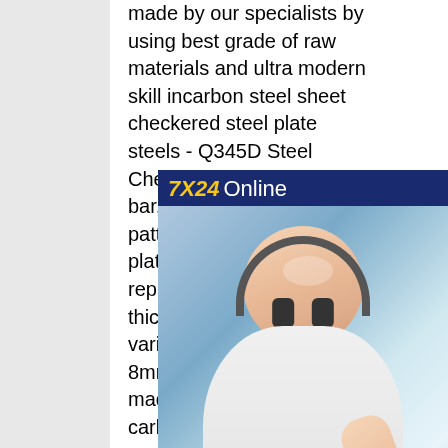made by our specialists by using best grade of raw materials and ultra modern skill incarbon steel sheet checkered steel plate steels - Q345D Steel Checkered Plate One bar,five bar,diamond patterns.Checkered steel plates are measured and represented by plate thickness,and thickness varies from 2.5mm to 8mm.Steel materials are made of #1 #3 common carbon steels,the chemical composition applies to Q195 carbon construction steel high carbon steel plate checkered steel sheet steel plate steels China Buy A36 Steel Plate Steel Checkered Plate One bar,five bar,diamond patterns.Checkered steel plates are measured and represented by plate thickness,and thickness varies from 2.5mm to 8mm.Steel materials are made
[Figure (photo): Customer service chat widget with a woman wearing a headset, dark navy blue background, showing '7X24 Online' header, photo of smiling female customer service representative, 'Hello,may I help you?' text, and a 'Get Latest Price' yellow button.]